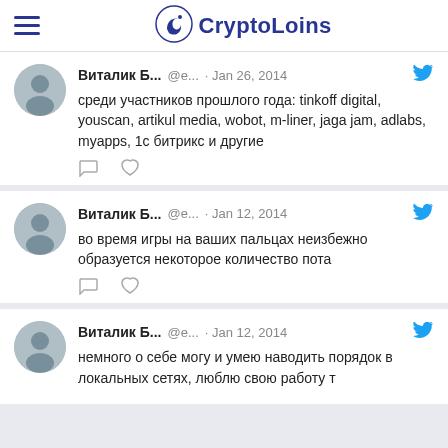CryptoLoins
Виталик Б... @е... · Jan 26, 2014
среди участников прошлого года: tinkoff digital, youscan, artikul media, wobot, m-liner, jaga jam, adlabs, myapps, 1с битрикс и другие
Виталик Б... @е... · Jan 12, 2014
во время игры на ваших пальцах неизбежно образуется некоторое количество пота
Виталик Б... @е... · Jan 12, 2014
немного о себе могу и умею наводить порядок в локальных сетях, люблю свою работу т